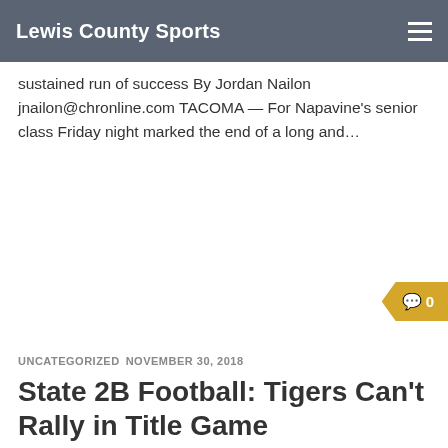Lewis County Sports
sustained run of success By Jordan Nailon jnailon@chronline.com TACOMA — For Napavine's senior class Friday night marked the end of a long and…
0
UNCATEGORIZED  NOVEMBER 30, 2018
State 2B Football: Tigers Can't Rally in Title Game